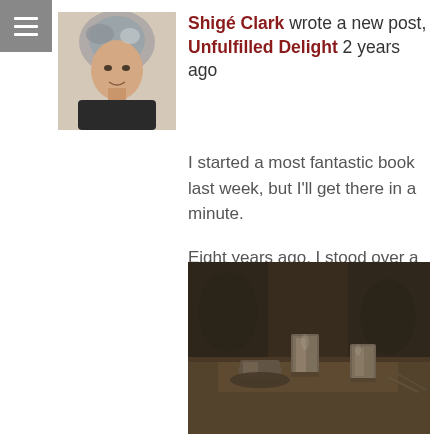[Figure (photo): Small avatar/profile photo of a woman with short light-colored hair, wearing a dark top, against a light background.]
Shigé Clark wrote a new post, Unfulfilled Delight 2 years ago
I started a most fantastic book last week, but I'll get there in a minute.
Eight years ago, I stood over a sliver of kitchen counter in Pyeongtaek, South Korea, pale and tight-eyed with lack of sleep in the b [...]
[Figure (photo): Black and white photograph of a restaurant table setting with small drinking glasses/shot glasses and dishes, with blurred chairs and tables in the background.]